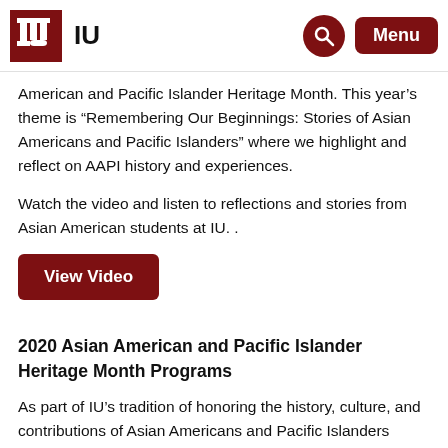IU
American and Pacific Islander Heritage Month. This year’s theme is “Remembering Our Beginnings: Stories of Asian Americans and Pacific Islanders” where we highlight and reflect on AAPI history and experiences.
Watch the video and listen to reflections and stories from Asian American students at IU. .
View Video
2020 Asian American and Pacific Islander Heritage Month Programs
As part of IU’s tradition of honoring the history, culture, and contributions of Asian Americans and Pacific Islanders (AAPI) as well as recognizing the issues